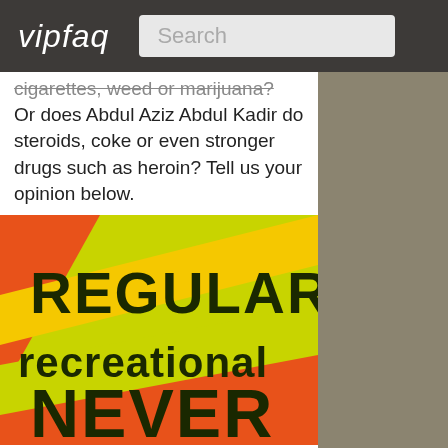vipfaq | Search
cigarettes, weed or marijuana? Or does Abdul Aziz Abdul Kadir do steroids, coke or even stronger drugs such as heroin? Tell us your opinion below.
[Figure (infographic): Colorful diagonal striped infographic with text: REGULAR, recreational, NEVER on orange/yellow/green background]
0% of the voters think that Abdul Aziz Abdul Kadir does do drugs regularly, 0% assume that Abdul Aziz Abdul Kadir does take drugs